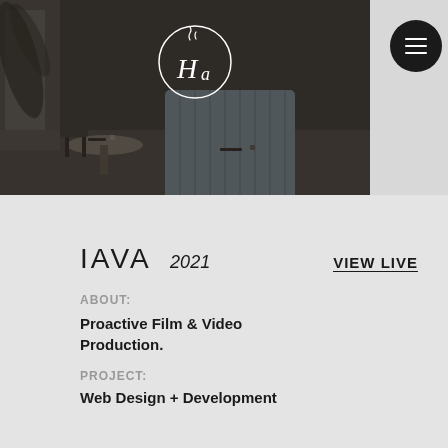[Figure (photo): Restaurant interior showing dim moody lighting, round tables with place settings, a curved tufted booth seat in dark blue-gray fabric, and a circular logo overlay with stylized letters and a coffee steam motif in white on dark background. A hamburger menu button in dark circle sits top right.]
IAVA  2021   VIEW LIVE
ABOUT:
Proactive Film & Video Production.
PROJECT:
Web Design + Development